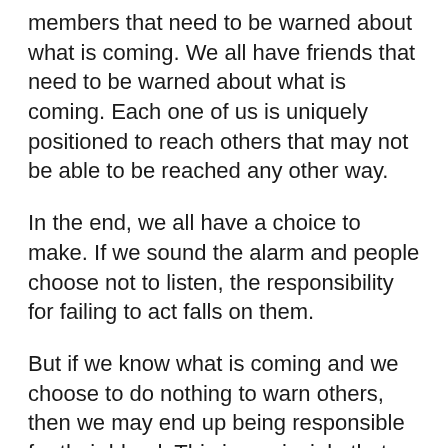members that need to be warned about what is coming.  We all have friends that need to be warned about what is coming.  Each one of us is uniquely positioned to reach others that may not be able to be reached any other way.
In the end, we all have a choice to make.  If we sound the alarm and people choose not to listen, the responsibility for failing to act falls on them.
But if we know what is coming and we choose to do nothing to warn others, then we may end up being responsible for their blood.  This is a principle that we even seen in the Scriptures.  The following is what Ezekiel 33:1-6 says...